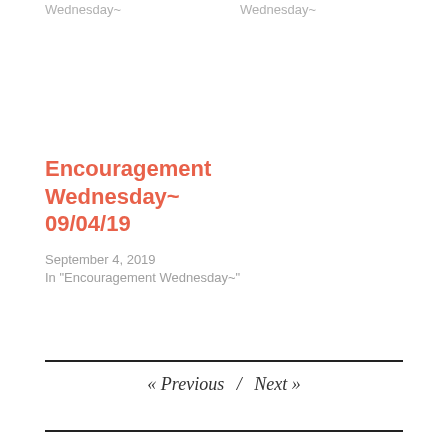Wednesday~
Wednesday~
Encouragement Wednesday~ 09/04/19
September 4, 2019
In "Encouragement Wednesday~"
« Previous / Next »